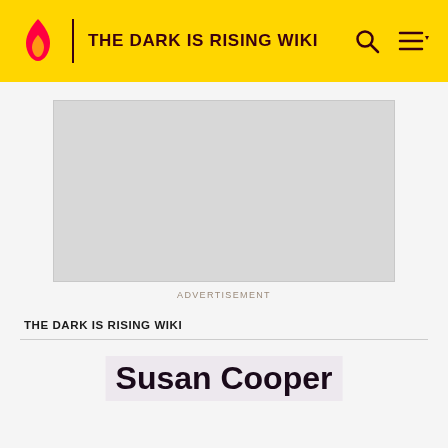THE DARK IS RISING WIKI
[Figure (other): Advertisement placeholder box (grey rectangle)]
ADVERTISEMENT
THE DARK IS RISING WIKI
Susan Cooper